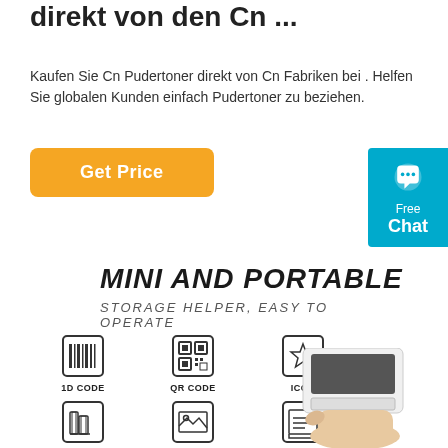direkt von den Cn ...
Kaufen Sie Cn Pudertoner direkt von Cn Fabriken bei . Helfen Sie globalen Kunden einfach Pudertoner zu beziehen.
[Figure (other): Orange 'Get Price' button]
[Figure (other): Blue chat widget with speech bubble icon, labeled 'Free Chat']
MINI AND PORTABLE
STORAGE HELPER,  EASY TO OPERATE
[Figure (infographic): Six feature icons in two rows: 1D CODE (barcode icon), QR CODE (QR code icon), ICON (star icon); BUSINESS ASSISTANT (books icon), PHOTO PRINTING (landscape icon), DOCUMENT PRINTING (document icon)]
[Figure (photo): Hand holding a small white portable printer device]